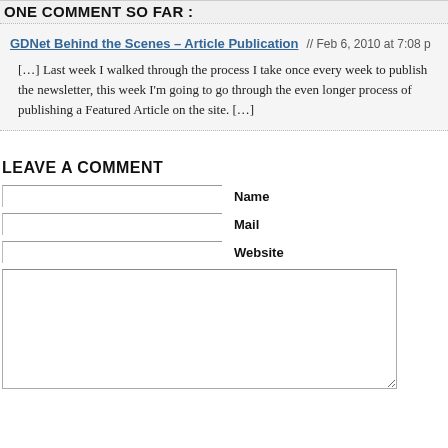ONE COMMENT SO FAR :
GDNet Behind the Scenes – Article Publication // Feb 6, 2010 at 7:08 p
[…] Last week I walked through the process I take once every week to publish the newsletter, this week I'm going to go through the even longer process of publishing a Featured Article on the site. […]
LEAVE A COMMENT
Name
Mail
Website